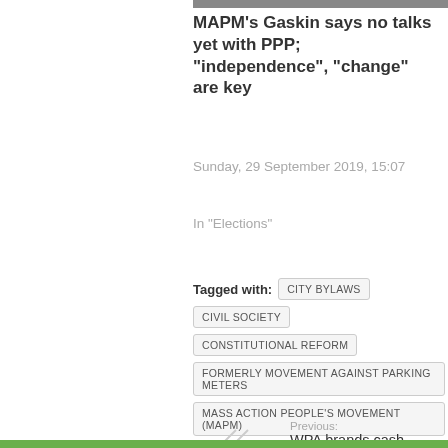[Figure (photo): Partial photo strip at top of page showing a person]
MAPM's Gaskin says no talks yet with PPP; “independence”, “change” are key
Sunday, 29 September 2019, 15:07
In “Elections”
Tagged with: CITY BYLAWS   CIVIL SOCIETY   CONSTITUTIONAL REFORM   FORMERLY MOVEMENT AGAINST PARKING METERS   MASS ACTION PEOPLE’S MOVEMENT (MAPM)   METERED PARKING   PPP CIVIC
Previous:
WPA brands cash transfer gov’t critics